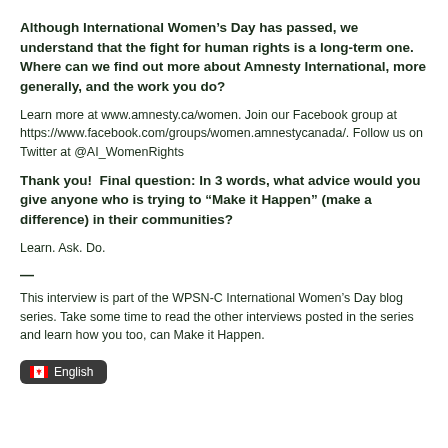Although International Women’s Day has passed, we understand that the fight for human rights is a long-term one.  Where can we find out more about Amnesty International, more generally, and the work you do?
Learn more at www.amnesty.ca/women. Join our Facebook group at https://www.facebook.com/groups/women.amnestycanada/. Follow us on Twitter at @AI_WomenRights
Thank you!  Final question: In 3 words, what advice would you give anyone who is trying to “Make it Happen” (make a difference) in their communities?
Learn. Ask. Do.
—
This interview is part of the WPSN-C International Women’s Day blog series. Take some time to read the other interviews posted in the series and learn how you too, can Make it Happen.
[Figure (other): Language selector button showing Canadian flag emoji and the word English on a dark grey rounded rectangle background]